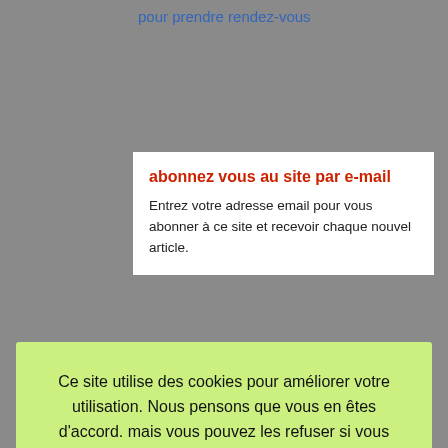pour prendre rendez-vous
abonnez vous au site par e-mail
Entrez votre adresse email pour vous abonner à ce site et recevoir chaque nouvel article.
Ce site utilise des cookies pour améliorer votre utilisation. Nous pensons que vous en êtes d'accord. mais vous pouvez les refuser si vous souhaitez.
Cookie settings
J'ACCEPTE
[Figure (logo): Facebook circular icon with white 'f' on blue background]
Conseil Régional de Bourgogne-Franche-Comté
[Figure (logo): Région Bourgogne logo text in black with gold accent line]